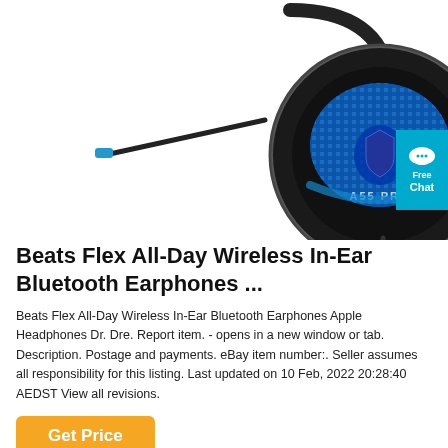[Figure (photo): Gaming headset (A55 PRO) with blue LED lighting, microphone arm extended to the left, black over-ear design, viewed from the front/side angle.]
Beats Flex All-Day Wireless In-Ear Bluetooth Earphones ...
Beats Flex All-Day Wireless In-Ear Bluetooth Earphones Apple Headphones Dr. Dre. Report item. - opens in a new window or tab. Description. Postage and payments. eBay item number:. Seller assumes all responsibility for this listing. Last updated on 10 Feb, 2022 20:28:40 AEDST View all revisions.
[Figure (other): Teal/cyan chat badge with speech bubble icon, 'Free' text and 'Chat' text, partially visible on right edge.]
Get Price